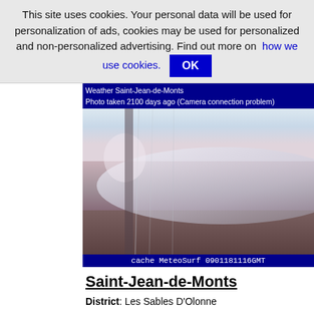This site uses cookies. Your personal data will be used for personalization of ads, cookies may be used for personalized and non-personalized advertising. Find out more on how we use cookies. OK
[Figure (photo): Weather camera photo of Saint-Jean-de-Monts with dark overlay text header 'Weather Saint-Jean-de-Monts / Photo taken 2100 days ago (Camera connection problem)' and footer 'cache MeteoSurf 0901181116GMT'. The photo shows a washed-out coastal scene with brown/purple tones.]
Saint-Jean-de-Monts
District: Les Sables D'Olonne
Department: Vendée
Region: Pays De La Loire